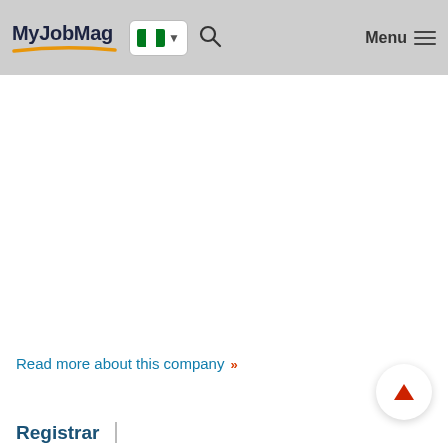MyJobMag | Nigeria | Menu
Read more about this company »
Registrar